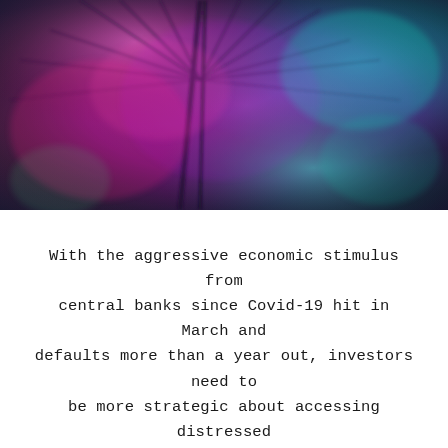[Figure (photo): Abstract macro photograph of a dandelion or similar plant with vibrant pink, magenta, teal, and green bokeh lighting effects against a blurred background]
With the aggressive economic stimulus from central banks since Covid-19 hit in March and defaults more than a year out, investors need to be more strategic about accessing distressed investments.
The Distressed Debt & Special Situations Investing, Europe 2021 report explores how to be ready with dry powder when the opportunities arise. Some evergreen fund